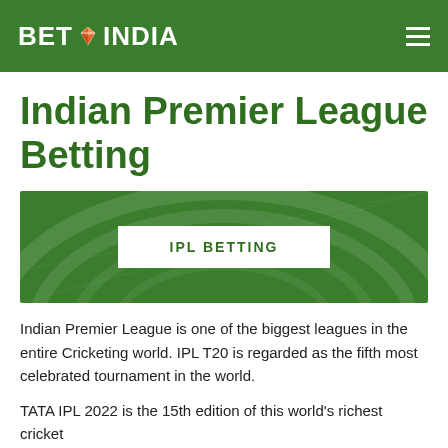BET INDIA
Indian Premier League Betting
[Figure (illustration): Green cricket stadium banner with white button labeled IPL BETTING in the center]
Indian Premier League is one of the biggest leagues in the entire Cricketing world. IPL T20 is regarded as the fifth most celebrated tournament in the world.
TATA IPL 2022 is the 15th edition of this world's richest cricket